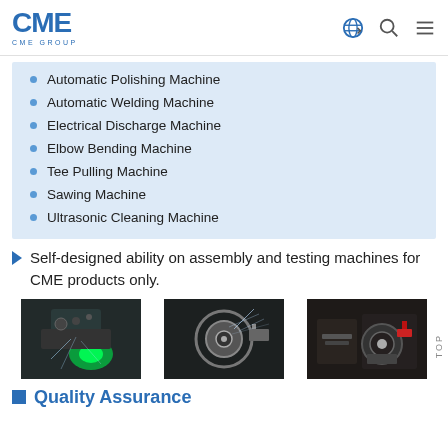CME GROUP
Automatic Polishing Machine
Automatic Welding Machine
Electrical Discharge Machine
Elbow Bending Machine
Tee Pulling Machine
Sawing Machine
Ultrasonic Cleaning Machine
Self-designed ability on assembly and testing machines for CME products only.
[Figure (photo): Three industrial machining photos showing CNC and manufacturing equipment with coolant spray]
Quality Assurance